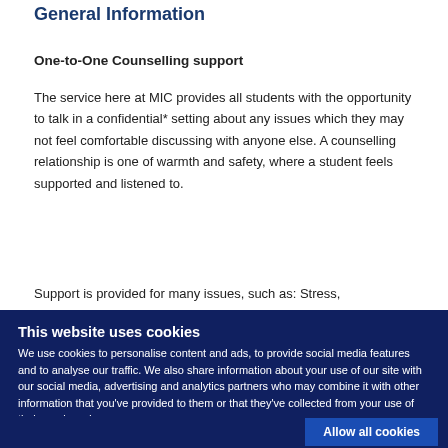General Information
One-to-One Counselling support
The service here at MIC provides all students with the opportunity to talk in a confidential* setting about any issues which they may not feel comfortable discussing with anyone else. A counselling relationship is one of warmth and safety, where a student feels supported and listened to.
Support is provided for many issues, such as: Stress,
This website uses cookies
We use cookies to personalise content and ads, to provide social media features and to analyse our traffic. We also share information about your use of our site with our social media, advertising and analytics partners who may combine it with other information that you've provided to them or that they've collected from your use of their services. Learn more.
Allow all cookies